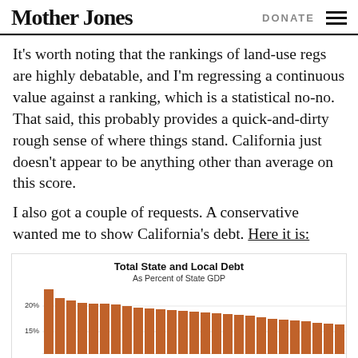Mother Jones   DONATE
It's worth noting that the rankings of land-use regs are highly debatable, and I'm regressing a continuous value against a ranking, which is a statistical no-no. That said, this probably provides a quick-and-dirty rough sense of where things stand. California just doesn't appear to be anything other than average on this score.
I also got a couple of requests. A conservative wanted me to show California's debt. Here it is:
[Figure (bar-chart): Bar chart showing Total State and Local Debt as Percent of State GDP for various states. Bars are orange/brown. Y-axis shows 15% and 20% labels visible. Tallest bar around 23%, many bars around 17-19%, bars decrease toward right side around 14-15%.]